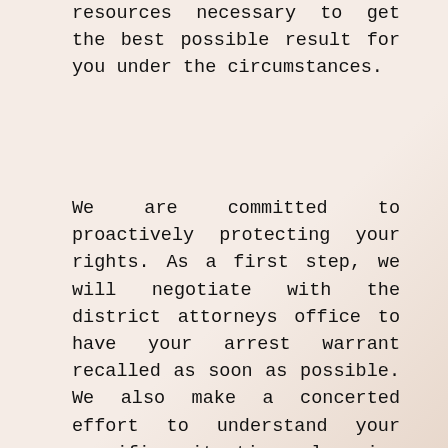resources necessary to get the best possible result for you under the circumstances.
We are committed to proactively protecting your rights. As a first step, we will negotiate with the district attorneys office to have your arrest warrant recalled as soon as possible. We also make a concerted effort to understand your specific situation, learning how your family has been affected by the poor economy, how an accounting error may have resulted in your inadvertently passing a bad check or any possible motivations that may underlie the allegations against you.
We are committed to painting a